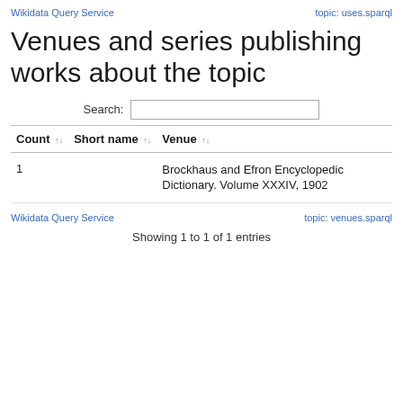Wikidata Query Service    topic: uses.sparql
Venues and series publishing works about the topic
Search:
| Count | Short name | Venue |
| --- | --- | --- |
| 1 |  | Brockhaus and Efron Encyclopedic Dictionary. Volume XXXIV, 1902 |
Wikidata Query Service    topic: venues.sparql
Showing 1 to 1 of 1 entries